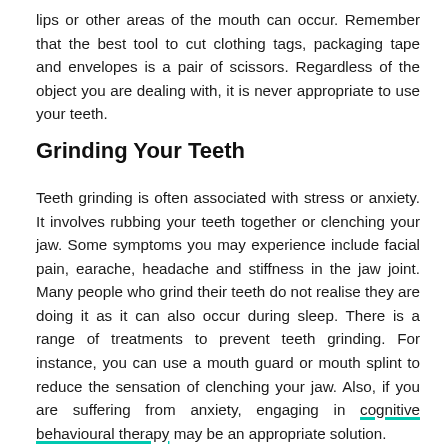lips or other areas of the mouth can occur. Remember that the best tool to cut clothing tags, packaging tape and envelopes is a pair of scissors. Regardless of the object you are dealing with, it is never appropriate to use your teeth.
Grinding Your Teeth
Teeth grinding is often associated with stress or anxiety. It involves rubbing your teeth together or clenching your jaw. Some symptoms you may experience include facial pain, earache, headache and stiffness in the jaw joint. Many people who grind their teeth do not realise they are doing it as it can also occur during sleep. There is a range of treatments to prevent teeth grinding. For instance, you can use a mouth guard or mouth splint to reduce the sensation of clenching your jaw. Also, if you are suffering from anxiety, engaging in cognitive behavioural therapy may be an appropriate solution.